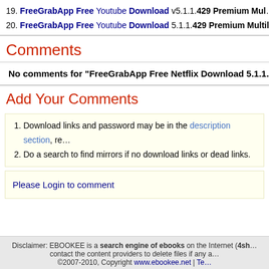19. FreeGrabApp Free Youtube Download v5.1.1.429 Premium Mul…
20. FreeGrabApp Free Youtube Download 5.1.1.429 Premium Multi…
Comments
No comments for "FreeGrabApp Free Netflix Download 5.1.1.429…"
Add Your Comments
1. Download links and password may be in the description section, re…
2. Do a search to find mirrors if no download links or dead links.
Please Login to comment
Disclaimer: EBOOKEE is a search engine of ebooks on the Internet (4sh… contact the content providers to delete files if any a… ©2007-2010, Copyright www.ebookee.net | Te…